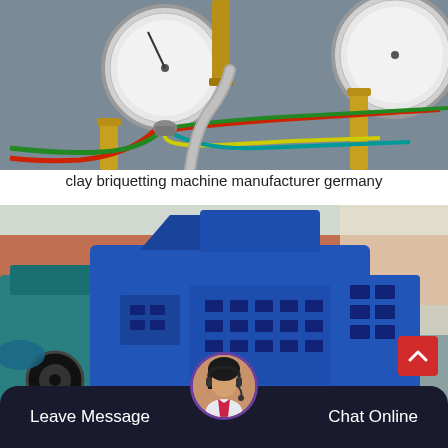[Figure (photo): Close-up photo of industrial pressure gauges with colored wires (red, green, yellow, teal) and metal fittings on a machine panel]
clay briquetting machine manufacturer germany
[Figure (photo): Photo of a large blue industrial briquetting machine in a factory setting]
Leave Message
Chat Online